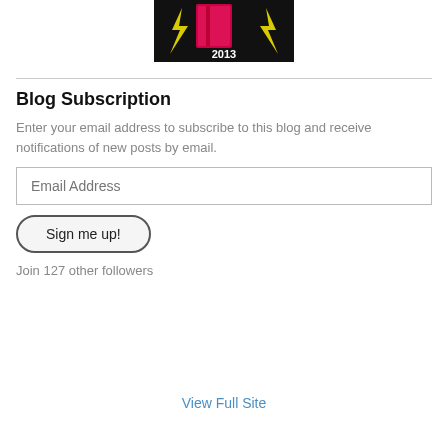[Figure (logo): Book/logo graphic with lightning bolts and text '2013' on black background]
Blog Subscription
Enter your email address to subscribe to this blog and receive notifications of new posts by email.
Email Address (input field placeholder)
Sign me up! (button)
Join 127 other followers
View Full Site